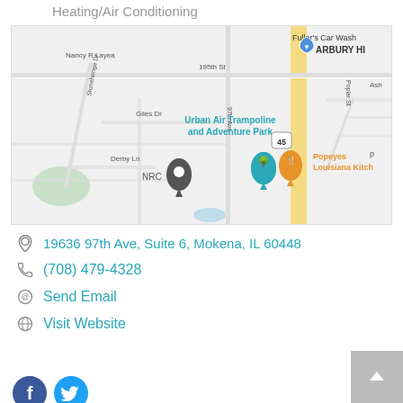Heating/Air Conditioning
[Figure (map): Street map showing location near 97th Ave and 195th St in Mokena, IL area. Shows Urban Air Trampoline and Adventure Park, Fuller's Car Wash, Popeyes Louisiana Kitchen, NRC marker pin, Derby Ln, Giles Dr, Stonehenge Dr, Poplar St, ARBURY HI text visible.]
19636 97th Ave, Suite 6, Mokena, IL 60448
(708) 479-4328
Send Email
Visit Website